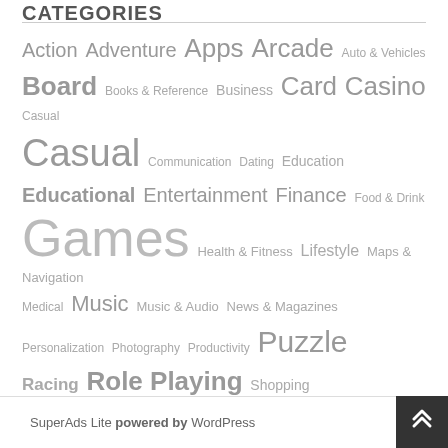CATEGORIES
Action Adventure Apps Arcade Auto & Vehicles Board Books & Reference Business Card Casino Casual Casual Communication Dating Education Educational Entertainment Finance Food & Drink Games Health & Fitness Lifestyle Maps & Navigation Medical Music Music & Audio News & Magazines Personalization Photography Productivity Puzzle Racing Role Playing Shopping Simulation Social Sports Sports Strategy Tools Travel & Local Trivia Video Players & Editors Weather Word
SuperAds Lite powered by WordPress